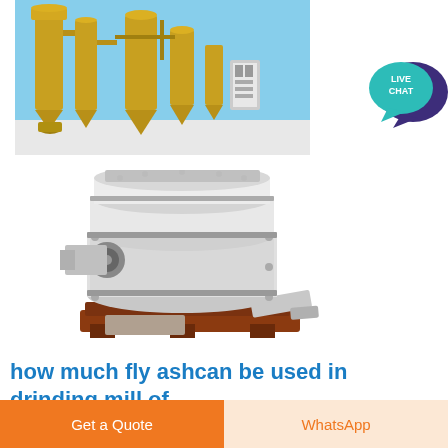[Figure (photo): Industrial grinding/milling plant with yellow silos, cyclones, conveyors and processing equipment against a blue sky background]
[Figure (photo): White industrial grinding mill machine (vertical roller mill or similar) with dark red/brown base pallet, photographed on white background]
[Figure (illustration): Live Chat button: teal speech bubble icon with dark purple chat bubble behind it, text LIVE CHAT in white]
how much fly ashcan be used in drinding mill of
Get a Quote
WhatsApp